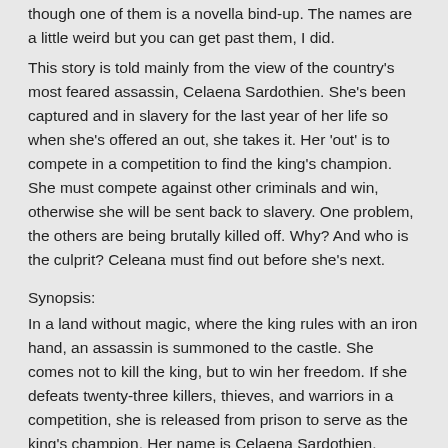though one of them is a novella bind-up. The names are a little weird but you can get past them, I did.
This story is told mainly from the view of the country's most feared assassin, Celaena Sardothien. She's been captured and in slavery for the last year of her life so when she's offered an out, she takes it. Her 'out' is to compete in a competition to find the king's champion. She must compete against other criminals and win, otherwise she will be sent back to slavery. One problem, the others are being brutally killed off. Why? And who is the culprit? Celeana must find out before she's next.
Synopsis:
In a land without magic, where the king rules with an iron hand, an assassin is summoned to the castle. She comes not to kill the king, but to win her freedom. If she defeats twenty-three killers, thieves, and warriors in a competition, she is released from prison to serve as the king's champion. Her name is Celaena Sardothien.
The Crown Prince will make her his The Captain of the Guard will